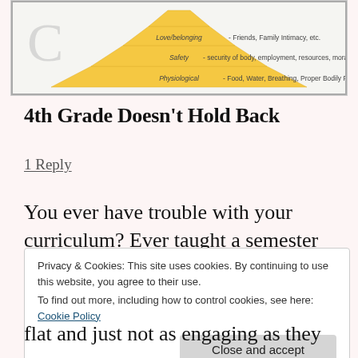[Figure (illustration): Maslow's Hierarchy of Needs pyramid diagram showing layers: Physiological (Food, Water, Breathing, Proper Bodily Functioning, Sleep, etc.), Safety (security of body, employment, resources, morality, family, health, property), Love/belonging (Friends, Family Intimacy, etc.) visible at top]
4th Grade Doesn't Hold Back
1 Reply
You ever have trouble with your curriculum? Ever taught a semester and looked back and know it just didn't flat and just not as engaging as they
Privacy & Cookies: This site uses cookies. By continuing to use this website, you agree to their use.
To find out more, including how to control cookies, see here: Cookie Policy
Close and accept